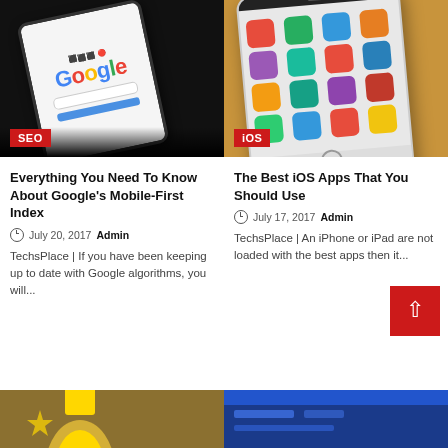[Figure (photo): Smartphone showing Google search page on dark background with SEO badge]
[Figure (photo): White iPhone showing app grid on wooden surface with iOS badge]
Everything You Need To Know About Google's Mobile-First Index
July 20, 2017  Admin
TechsPlace | If you have been keeping up to date with Google algorithms, you will...
The Best iOS Apps That You Should Use
July 17, 2017  Admin
TechsPlace | An iPhone or iPad are not loaded with the best apps then it...
[Figure (photo): Partial image at bottom left, appears to be a trophy]
[Figure (photo): Partial image at bottom right, appears to be a blue graphic]